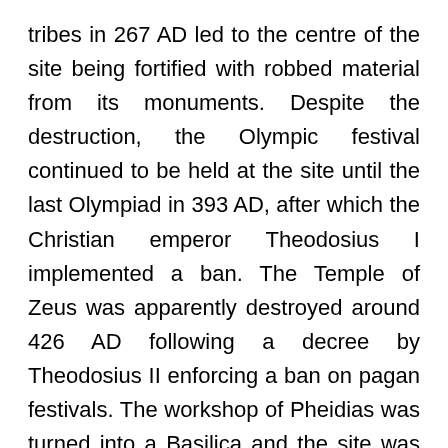tribes in 267 AD led to the centre of the site being fortified with robbed material from its monuments. Despite the destruction, the Olympic festival continued to be held at the site until the last Olympiad in 393 AD, after which the Christian emperor Theodosius I implemented a ban. The Temple of Zeus was apparently destroyed around 426 AD following a decree by Theodosius II enforcing a ban on pagan festivals. The workshop of Pheidias was turned into a Basilica and the site was inhabited by a Christian community.[6] Archaeological evidence suggests that small publicity Olympic events (possibly in Christian clothes) were still being held secretly. Two earthquakes